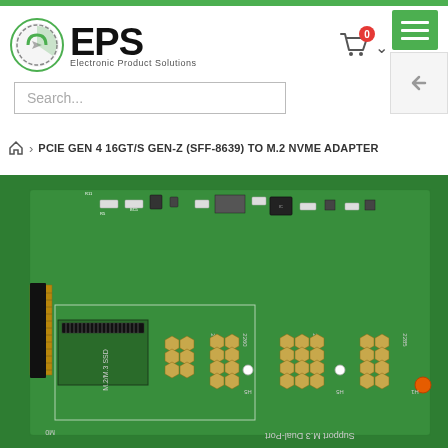[Figure (logo): EPS Electronic Product Solutions logo with circular gear/lens icon and bold EPS text]
Search...
PCIE GEN 4 16GT/S GEN-Z (SFF-8639) TO M.2 NVME ADAPTER
[Figure (photo): Close-up photo of a green PCB adapter board - PCIE GEN 4 16GT/S GEN-Z (SFF-8639) to M.2 NVMe adapter, showing SFF-8639 connector on the left, M.2/M.3 SSD slot, mounting holes labeled 2242, 2260, 2280, and text 'Support M.3 Dual-Port' at bottom]